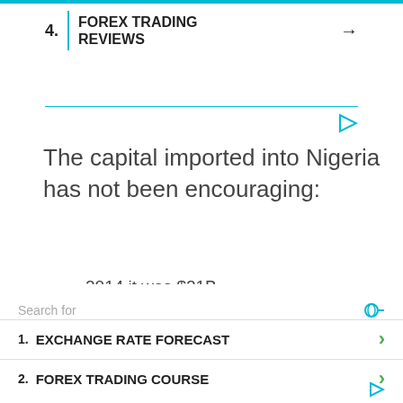4. FOREX TRADING REVIEWS →
The capital imported into Nigeria has not been encouraging:
2014 it was $21B
2015:$10B
2016:$5B
2017:$12B
2018:$17B
2019: $24B
Search for
1. EXCHANGE RATE FORECAST
2. FOREX TRADING COURSE